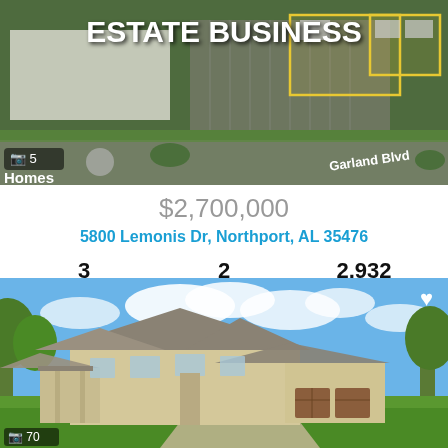[Figure (photo): Aerial/satellite view of commercial real estate property near Garland Blvd with yellow property outlines overlaid. Text 'ESTATE BUSINESS' appears at top. Camera icon with '5' and 'Homes' label visible at bottom left.]
$2,700,000
5800 Lemonis Dr, Northport, AL 35476
3 Beds   2 Baths   2,932 SqFt
Listings Provided By Pritchett Moore Real Estate
[Figure (photo): Exterior photo of a large residential home with beige/tan siding, peaked roofs, covered front porch, three-car garage, surrounded by green trees under a blue sky with clouds.]